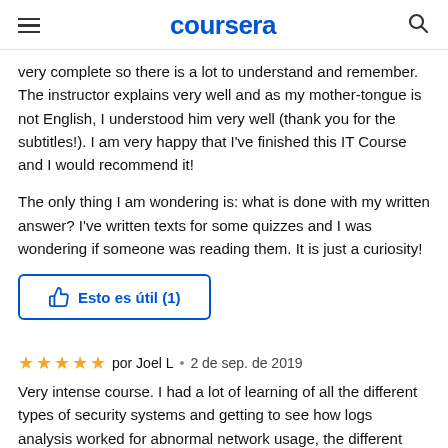coursera
very complete so there is a lot to understand and remember. The instructor explains very well and as my mother-tongue is not English, I understood him very well (thank you for the subtitles!). I am very happy that I've finished this IT Course and I would recommend it!
The only thing I am wondering is: what is done with my written answer? I've written texts for some quizzes and I was wondering if someone was reading them. It is just a curiosity!
[Figure (other): Thumbs up button with text 'Esto es útil (1)' in blue with blue border]
por Joel L • 2 de sep. de 2019
Very intense course. I had a lot of learning of all the different types of security systems and getting to see how logs analysis worked for abnormal network usage, the different